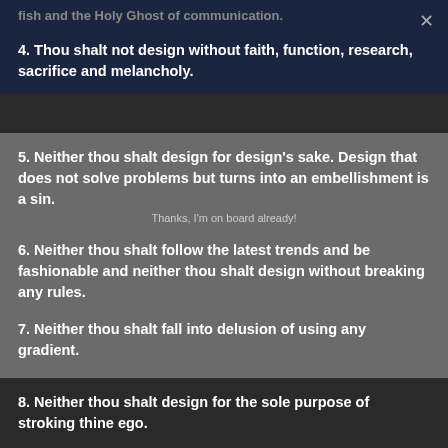fish and the Holy Ghost of communication.
4. Thou shalt not design without faith, function, research, sacrifice and melancholy.
5. Neither thou shalt design for design's sake. Design that does not solve problems but turns into an embellishment is a sin.
Thanks, I'm on board already!
6. Neither thou shalt follow the latest trends and be fashionable and neither thou shalt design without breaking any rules.
7. Neither thou shalt fall into delusion of using any gradient.
8. Neither thou shalt design for the sole purpose of stroking thine ego.